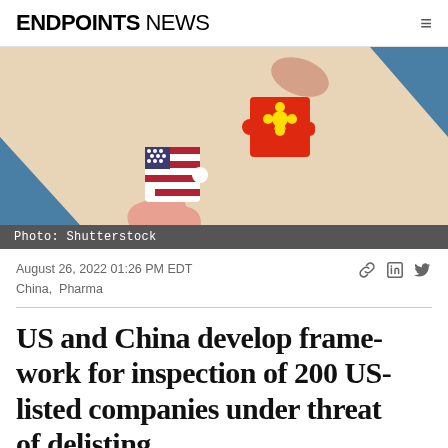ENDPOINTS NEWS
[Figure (illustration): Illustration of puzzle pieces with US flag and Chinese flag patterns being joined together, on a beige/peach background with blue corner accents.]
Photo: Shutterstock
August 26, 2022 01:26 PM EDT
China,  Pharma
US and China develop framework for inspection of 200 US-listed companies under threat of delisting